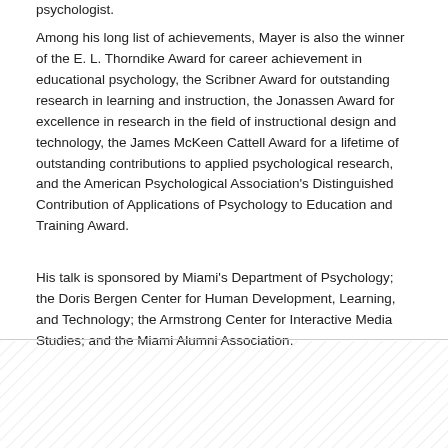psychologist.
Among his long list of achievements, Mayer is also the winner of the E. L. Thorndike Award for career achievement in educational psychology, the Scribner Award for outstanding research in learning and instruction, the Jonassen Award for excellence in research in the field of instructional design and technology, the James McKeen Cattell Award for a lifetime of outstanding contributions to applied psychological research, and the American Psychological Association's Distinguished Contribution of Applications of Psychology to Education and Training Award.
His talk is sponsored by Miami's Department of Psychology; the Doris Bergen Center for Human Development, Learning, and Technology; the Armstrong Center for Interactive Media Studies; and the Miami Alumni Association.